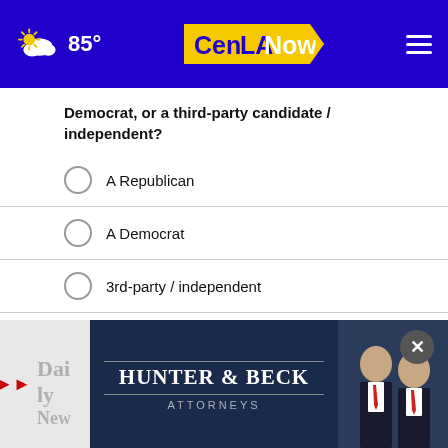85° CenLANow
Democrat, or a third-party candidate / independent?
A Republican
A Democrat
3rd-party / independent
Other / No opinion
NEXT *
* By clicking "NEXT" you agree to the following: We use cookies to track your survey answers. If you would like to continue with this survey, please read and agree to the CivicScience Privacy Policy and Terms of Service
[Figure (photo): Hunter & Beck Attorneys advertisement banner with two men in suits]